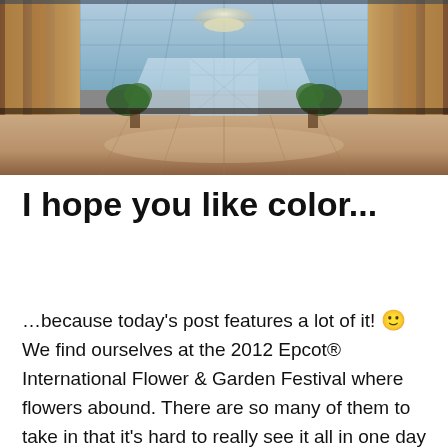[Figure (photo): Interior of a grand ornate hotel lobby or atrium with marble floors, large crystal chandeliers, lush tropical plants, and a glass ceiling. The perspective shows a symmetrical corridor receding into the distance with warm golden and cool blue tones.]
I hope you like color...
…because today's post features a lot of it! 🙂 We find ourselves at the 2012 Epcot® International Flower & Garden Festival where flowers abound. There are so many of them to take in that it's hard to really see it all in one day and truly appreciate the effort behind it. Breathtaking aromas and eye-catching colors await your visit. The displays they setup are absolutely amazing. A lot